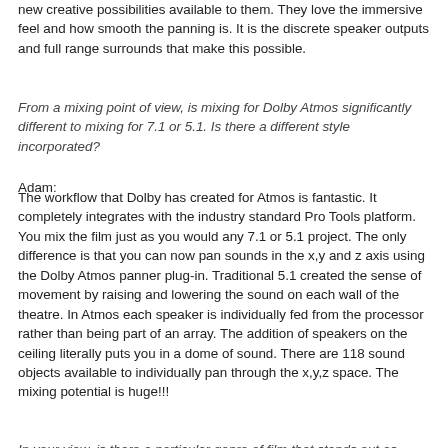new creative possibilities available to them. They love the immersive feel and how smooth the panning is. It is the discrete speaker outputs and full range surrounds that make this possible.
From a mixing point of view, is mixing for Dolby Atmos significantly different to mixing for 7.1 or 5.1. Is there a different style incorporated?
Adam:
The workflow that Dolby has created for Atmos is fantastic. It completely integrates with the industry standard Pro Tools platform. You mix the film just as you would any 7.1 or 5.1 project. The only difference is that you can now pan sounds in the x,y and z axis using the Dolby Atmos panner plug-in. Traditional 5.1 created the sense of movement by raising and lowering the sound on each wall of the theatre. In Atmos each speaker is individually fed from the processor rather than being part of an array. The addition of speakers on the ceiling literally puts you in a dome of sound. There are 118 sound objects available to individually pan through the x,y,z space. The mixing potential is huge!!!
In your view, is there a particular genre of film that stands out as being